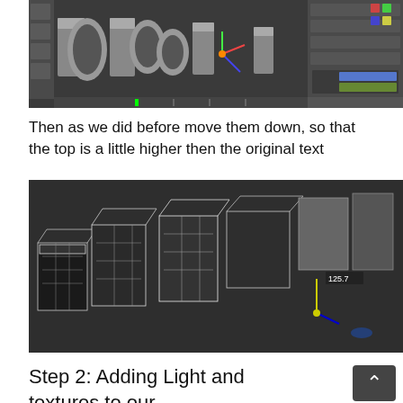[Figure (screenshot): 3D modeling software interface showing 3D text objects (letters) in a perspective viewport with gray background, with panel UI on the right side showing object properties and timeline at the bottom]
Then as we did before move them down, so that the top is a little higher then the original text
[Figure (screenshot): 3D modeling software viewport showing wireframe/shaded 3D text letters from a perspective angle against dark gray background, with a transform gizmo visible and coordinate readout showing 125.7]
Step 2: Adding Light and textures to our